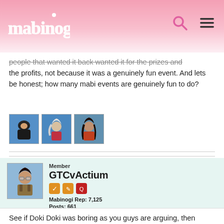Mabinogi
people that wanted it back wanted it for the prizes and the profits, not because it was a genuinely fun event. And lets be honest; how many mabi events are genuinely fun to do?
[Figure (illustration): Three anime-style character portrait thumbnails side by side]
Member
GTCvActium
Mabinogi Rep: 7,125
Posts: 661
APRIL 15, 2019
See if Doki Doki was boring as you guys are arguing, then